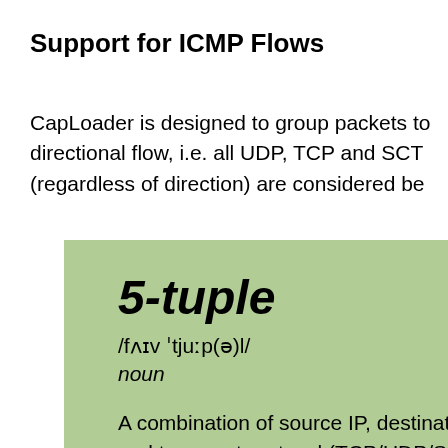Support for ICMP Flows
CapLoader is designed to group packets to a directional flow, i.e. all UDP, TCP and SCT (regardless of direction) are considered be
[Figure (other): Green dictionary-style callout box defining '5-tuple' with phonetic pronunciation /fʌɪv ˈtjuːp(ə)l/, part of speech 'noun', and definition beginning 'A combination of source IP, destinati and transport protocol (TCP/UDP/SC or layer 4 session in computer netwo']